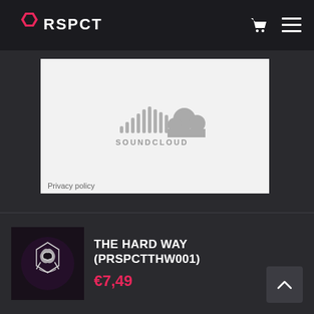RSPCT
[Figure (logo): SoundCloud logo with waveform icon and SOUNDCLOUD text in gray on light gray background, with Privacy policy link below]
Privacy policy
[Figure (photo): Album art thumbnail for The Hard Way - dark purple/black with stylized owl/shield logo]
THE HARD WAY (PRSPCTTHW001)
€7,49